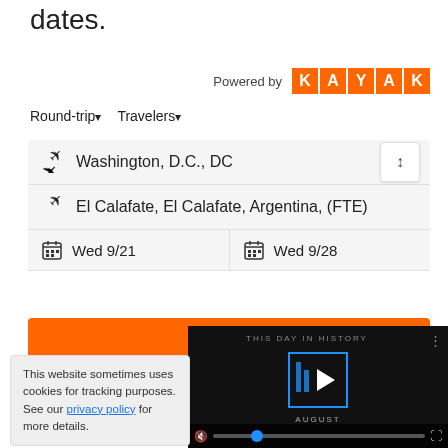dates.
[Figure (logo): KAYAK logo - orange squares each containing a letter K, A, Y, A, K in white, preceded by 'Powered by' text]
Round-trip  Travelers
Washington, D.C., DC
El Calafate, El Calafate, Argentina, (FTE)
Wed 9/21    Wed 9/28
[Figure (screenshot): Orange search button with white circle/magnifying glass icon]
[Figure (screenshot): Video overlay showing 'THIS DAY IN HISTORY' with play button, vertical bars logo, AUGUST label, and video controls bar with mute, progress and fullscreen icons]
This website sometimes uses cookies for tracking purposes. See our privacy policy for more details.